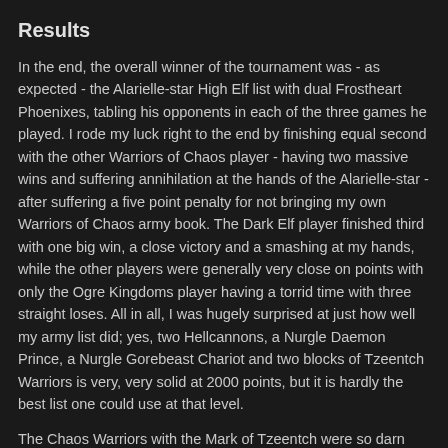Results
In the end, the overall winner of the tournament was - as expected - the Alarielle-star High Elf list with dual Frostheart Phoenixes, tabling his opponents in each of the three games he played. I rode my luck right to the end by finishing equal second with the other Warriors of Chaos player - having two massive wins and suffering annihilation at the hands of the Alarielle-star - after suffering a five point penalty for not bringing my own Warriors of Chaos army book. The Dark Elf player finished third with one big win, a close victory and a smashing at my hands, while the other players were generally very close on points with only the Ogre Kingdoms player having a torrid time with three straight loses. All in all, I was hugely surprised at just how well my army list did; yes, two Hellcannons, a Nurgle Daemon Prince, a Nurgle Gorebeast Chariot and two blocks of Tzeentch Warriors is very, very solid at 2000 points, but it is hardly the best list one could use at that level.
The Chaos Warriors with the Mark of Tzeentch were so darn